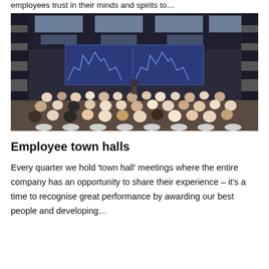employees trust in their minds and spirits to…
[Figure (photo): A large conference room filled with employees seated in rows of white chairs, viewed from behind, facing a presenter at the front with two large blue projection screens displaying city skyline graphics. The room has a modern design with geometric ceiling panels and dramatic lighting.]
Employee town halls
Every quarter we hold 'town hall' meetings where the entire company has an opportunity to share their experience – it's a time to recognise great performance by awarding our best people and developing…